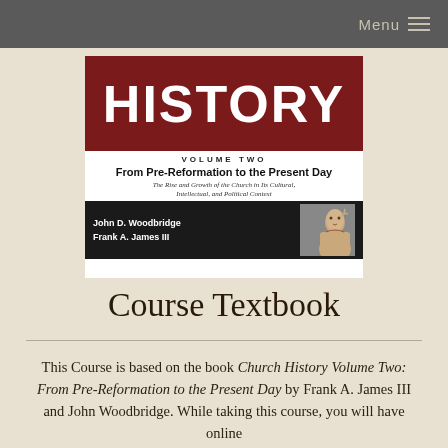Menu
[Figure (photo): Book cover of Church History Volume Two: From Pre-Reformation to the Present Day by John D. Woodbridge and Frank A. James III. The cover shows the word HISTORY in large white letters on a dark red background, with subtitle and author information below, and a photo of a person.]
Course Textbook
This Course is based on the book Church History Volume Two: From Pre-Reformation to the Present Day by Frank A. James III and John Woodbridge. While taking this course, you will have online